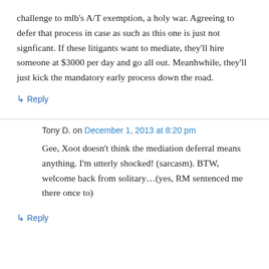challenge to mlb's A/T exemption, a holy war. Agreeing to defer that process in case as such as this one is just not signficant. If these litigants want to mediate, they'll hire someone at $3000 per day and go all out. Meanhwhile, they'll just kick the mandatory early process down the road.
↳ Reply
Tony D. on December 1, 2013 at 8:20 pm
Gee, Xoot doesn't think the mediation deferral means anything. I'm utterly shocked! (sarcasm). BTW, welcome back from solitary…(yes, RM sentenced me there once to)
↳ Reply